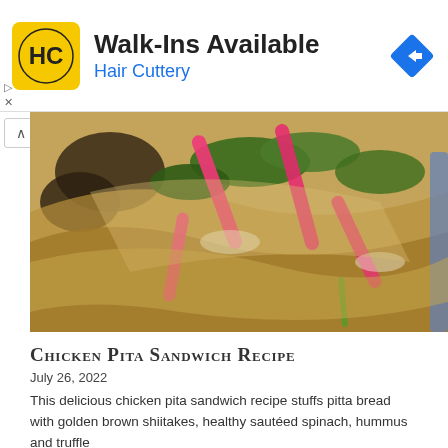[Figure (logo): Hair Cuttery advertisement banner with HC logo on yellow background, Walk-Ins Available text and navigation icon]
[Figure (photo): Close-up food photo of a chicken pita sandwich with shiitake mushrooms, sautéed greens, and bright pink pickled onions wrapped in pita bread, served on a blue plate]
Chicken Pita Sandwich Recipe
July 26, 2022
This delicious chicken pita sandwich recipe stuffs pitta bread with golden brown shiitakes, healthy sautéed spinach, hummus and truffle oil then piled high and served with chicken.